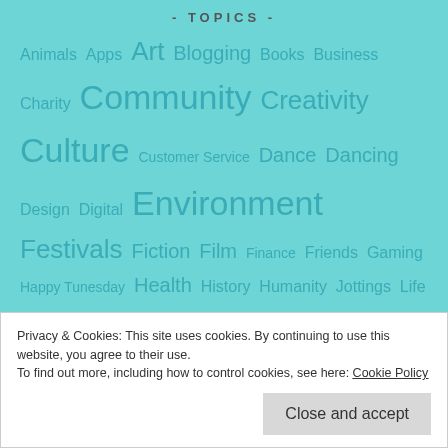- TOPICS -
Animals Apps Art Blogging Books Business Charity Community Creativity Culture Customer Service Dance Dancing Design Digital Environment Festivals Fiction Film Finance Friends Gaming Happy Tunesday Health History Humanity Jottings Life Hack Lifestyle Music My Kent My Medway My Swale Nature Opportunities Photos Poetry Radio Review Screenwriting Silent Sunday Skill Social Media Sport Sporty Saturday Storytelling Strictly Come Dancing Sunday Slackers Technology Television
Privacy & Cookies: This site uses cookies. By continuing to use this website, you agree to their use. To find out more, including how to control cookies, see here: Cookie Policy